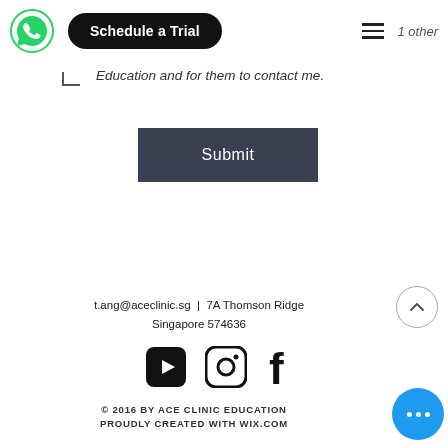[Figure (screenshot): Navigation bar with WhatsApp icon, Schedule a Trial button, hamburger menu, corner bracket, and '1 other' text]
Education and for them to contact me.
[Figure (other): Submit button with dark gray background]
t.ang@aceclinic.sg  |  7A Thomson Ridge Singapore 574636
[Figure (other): Social media icons: YouTube, Instagram, Facebook]
© 2016 BY ACE CLINIC EDUCATION PROUDLY CREATED WITH WIX.COM